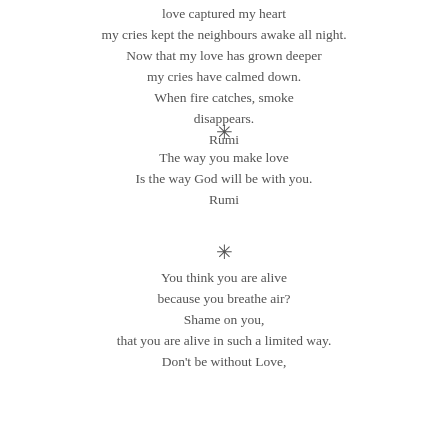love captured my heart
my cries kept the neighbours awake all night.
Now that my love has grown deeper
my cries have calmed down.
When fire catches, smoke
disappears.
Rumi
✳
The way you make love
Is the way God will be with you.
Rumi
✳
You think you are alive
because you breathe air?
Shame on you,
that you are alive in such a limited way.
Don't be without Love,